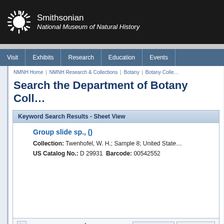[Figure (logo): Smithsonian National Museum of Natural History logo with sunburst icon and text]
Visit | Exhibits | Research | Education | Events
NMNH Home | NMNH Research & Collections | Botany | Botany Collections
Search the Department of Botany Collections
Keyword Search Results - Sheet View
Group slide sp., ()
Collection: Twenhofel, W. H.; Sample 8; United States
US Catalog No.: D 29931  Barcode: 00542552
Page 1 of 1  Clear Selections  Export as KML
Botany Collections  Keyword Search  Search by Field  Type Register